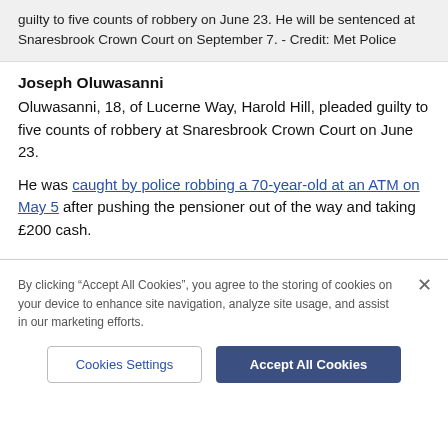guilty to five counts of robbery on June 23. He will be sentenced at Snaresbrook Crown Court on September 7. - Credit: Met Police
Joseph Oluwasanni
Oluwasanni, 18, of Lucerne Way, Harold Hill, pleaded guilty to five counts of robbery at Snaresbrook Crown Court on June 23.
He was caught by police robbing a 70-year-old at an ATM on May 5 after pushing the pensioner out of the way and taking £200 cash.
By clicking "Accept All Cookies", you agree to the storing of cookies on your device to enhance site navigation, analyze site usage, and assist in our marketing efforts.